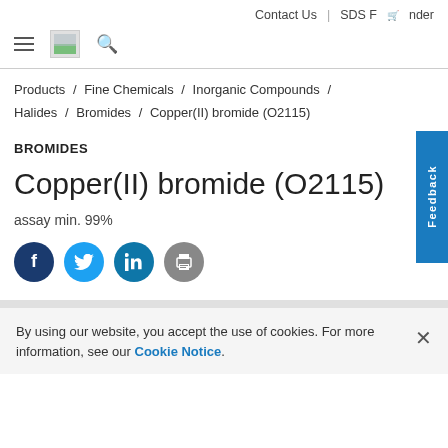Contact Us | SDS Finder
Products / Fine Chemicals / Inorganic Compounds / Halides / Bromides / Copper(II) bromide (O2115)
BROMIDES
Copper(II) bromide (O2115)
assay min. 99%
By using our website, you accept the use of cookies. For more information, see our Cookie Notice.